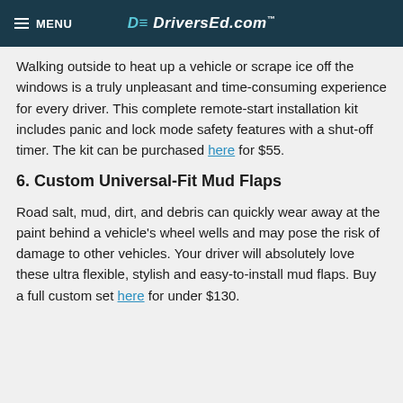MENU | DE DriversEd.com
Walking outside to heat up a vehicle or scrape ice off the windows is a truly unpleasant and time-consuming experience for every driver. This complete remote-start installation kit includes panic and lock mode safety features with a shut-off timer. The kit can be purchased here for $55.
6. Custom Universal-Fit Mud Flaps
Road salt, mud, dirt, and debris can quickly wear away at the paint behind a vehicle's wheel wells and may pose the risk of damage to other vehicles. Your driver will absolutely love these ultra flexible, stylish and easy-to-install mud flaps. Buy a full custom set here for under $130.